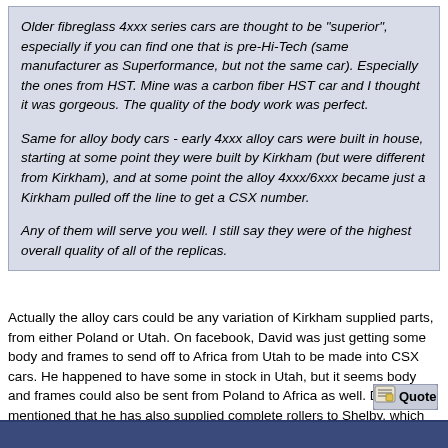Older fibreglass 4xxx series cars are thought to be "superior", especially if you can find one that is pre-Hi-Tech (same manufacturer as Superformance, but not the same car). Especially the ones from HST. Mine was a carbon fiber HST car and I thought it was gorgeous. The quality of the body work was perfect.

Same for alloy body cars - early 4xxx alloy cars were built in house, starting at some point they were built by Kirkham (but were different from Kirkham), and at some point the alloy 4xxx/6xxx became just a Kirkham pulled off the line to get a CSX number.

Any of them will serve you well. I still say they were of the highest overall quality of all of the replicas.
Actually the alloy cars could be any variation of Kirkham supplied parts, from either Poland or Utah. On facebook, David was just getting some body and frames to send off to Africa from Utah to be made into CSX cars. He happened to have some in stock in Utah, but it seems body and frames could also be sent from Poland to Africa as well. David mentioned that he has also supplied complete rollers to Shelby, which probably go directly from Utah to Vegas. He supplies whatever they ask for at any given time.